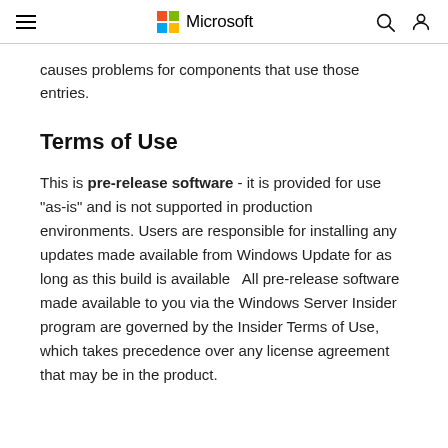Microsoft
causes problems for components that use those entries.
Terms of Use
This is pre-release software - it is provided for use "as-is" and is not supported in production environments. Users are responsible for installing any updates made available from Windows Update for as long as this build is available   All pre-release software made available to you via the Windows Server Insider program are governed by the Insider Terms of Use, which takes precedence over any license agreement that may be in the product.